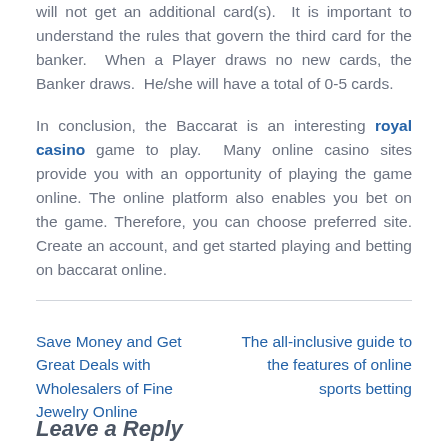will not get an additional card(s).  It is important to understand the rules that govern the third card for the banker.  When a Player draws no new cards, the Banker draws.  He/she will have a total of 0-5 cards.
In conclusion, the Baccarat is an interesting royal casino game to play.  Many online casino sites provide you with an opportunity of playing the game online. The online platform also enables you bet on the game. Therefore, you can choose preferred site. Create an account, and get started playing and betting on baccarat online.
Save Money and Get Great Deals with Wholesalers of Fine Jewelry Online
The all-inclusive guide to the features of online sports betting
Leave a Reply